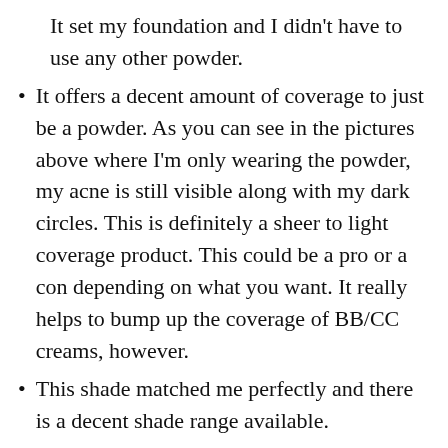It set my foundation and I didn't have to use any other powder.
It offers a decent amount of coverage to just be a powder. As you can see in the pictures above where I'm only wearing the powder, my acne is still visible along with my dark circles. This is definitely a sheer to light coverage product. This could be a pro or a con depending on what you want. It really helps to bump up the coverage of BB/CC creams, however.
This shade matched me perfectly and there is a decent shade range available.
You can apply this with a wet sponge for more coverage or a dry brush to just use it as a powder.